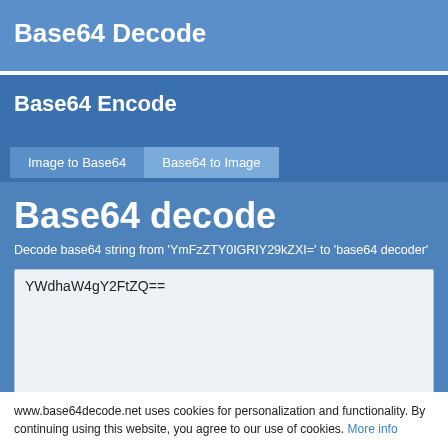Base64 Decode
Base64 Encode
Image to Base64
Base64 to Image
Base64 decode
Decode base64 string from 'YmFzZTY0IGRIY29kZXI=' to 'base64 decoder'
YWdhaW4gY2FtZQ==
www.base64decode.net uses cookies for personalization and functionality. By continuing using this website, you agree to our use of cookies. More info